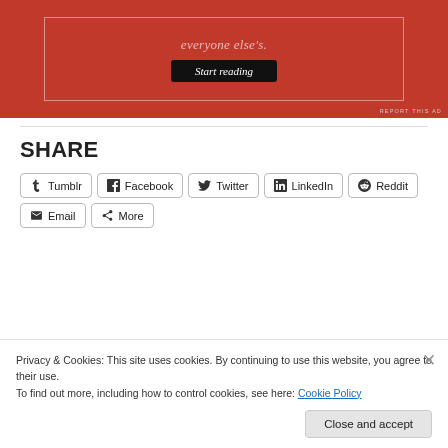[Figure (other): Red advertisement banner with italic serif text 'everyone else's.' and a black 'Start reading' button, with 'REPORT THIS AD' text in small caps at bottom right.]
REPORT THIS AD
SHARE
Tumblr  Facebook  Twitter  LinkedIn  Reddit  Email  More
Privacy & Cookies: This site uses cookies. By continuing to use this website, you agree to their use.
To find out more, including how to control cookies, see here: Cookie Policy